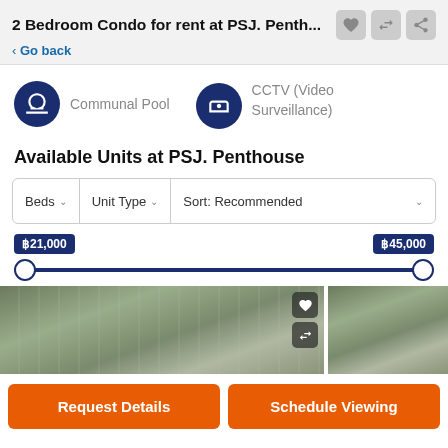2 Bedroom Condo for rent at PSJ. Penth...
< Go back
Communal Pool
CCTV (Video Surveillance)
Available Units at PSJ. Penthouse
Beds  Unit Type  Sort: Recommended
฿21,000 — ฿45,000
[Figure (photo): Two property listing photos of PSJ Penthouse building exterior with greenery]
Request Details
Schedule Viewing